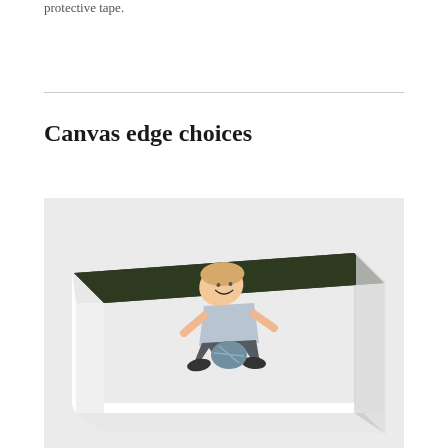protective tape.
Canvas edge choices
[Figure (photo): A canvas print showing a young boy smiling and holding a ball of string, mounted on a thick white frame, photographed at an angle against a light background.]